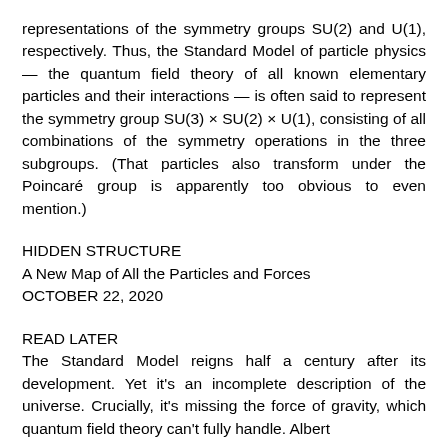representations of the symmetry groups SU(2) and U(1), respectively. Thus, the Standard Model of particle physics — the quantum field theory of all known elementary particles and their interactions — is often said to represent the symmetry group SU(3) × SU(2) × U(1), consisting of all combinations of the symmetry operations in the three subgroups. (That particles also transform under the Poincaré group is apparently too obvious to even mention.)
HIDDEN STRUCTURE
A New Map of All the Particles and Forces
OCTOBER 22, 2020
READ LATER
The Standard Model reigns half a century after its development. Yet it's an incomplete description of the universe. Crucially, it's missing the force of gravity, which quantum field theory can't fully handle. Albert